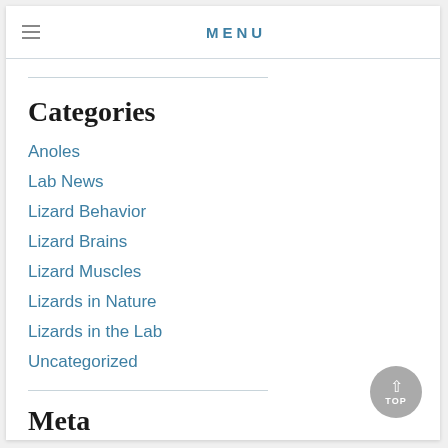MENU
Categories
Anoles
Lab News
Lizard Behavior
Lizard Brains
Lizard Muscles
Lizards in Nature
Lizards in the Lab
Uncategorized
Meta